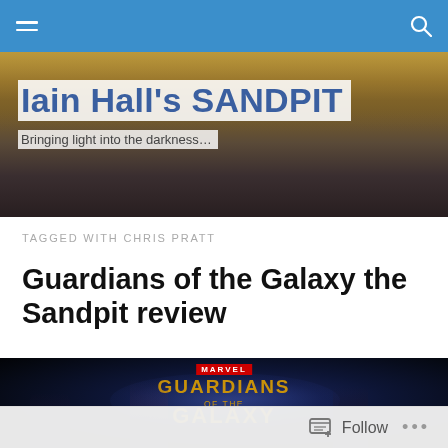Iain Hall's SANDPIT — navigation bar
[Figure (screenshot): Blog header image with golden decorative background — Iain Hall's SANDPIT blog header]
Iain Hall's SANDPIT
Bringing light into the darkness…
TAGGED WITH CHRIS PRATT
Guardians of the Galaxy the Sandpit review
[Figure (photo): Guardians of the Galaxy Marvel movie promotional image showing Star-Lord and Groot characters with the movie logo text]
Follow